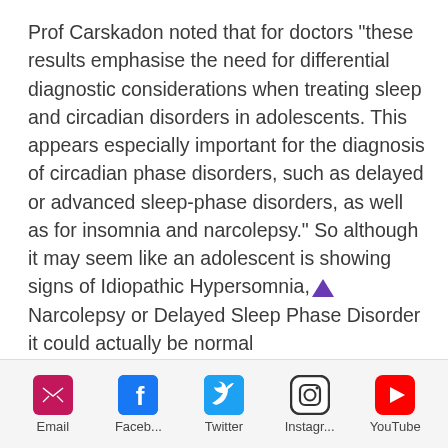Prof Carskadon noted that for doctors "these results emphasise the need for differential diagnostic considerations when treating sleep and circadian disorders in adolescents. This appears especially important for the diagnosis of circadian phase disorders, such as delayed or advanced sleep-phase disorders, as well as for insomnia and narcolepsy." So although it may seem like an adolescent is showing signs of Idiopathic Hypersomnia, Narcolepsy or Delayed Sleep Phase Disorder it could actually be normal
Email | Faceb... | Twitter | Instagr... | YouTube